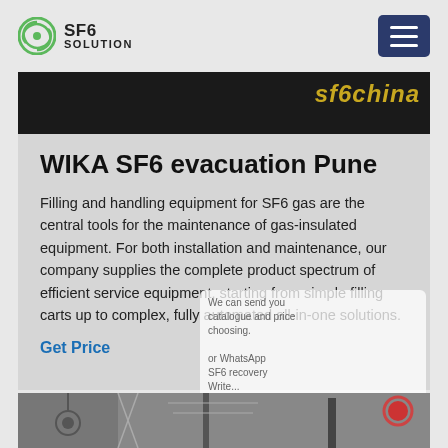SF6 SOLUTION
[Figure (screenshot): Top partial image with text 'sf6china' in gold/yellow italic text on dark background]
WIKA SF6 evacuation Pune
Filling and handling equipment for SF6 gas are the central tools for the maintenance of gas-insulated equipment. For both installation and maintenance, our company supplies the complete product spectrum of efficient service equipment, starting from simple filling carts up to complex, fully automated all-in-one solutions.
Get Price
[Figure (photo): Bottom partial image showing industrial electrical equipment and transmission towers]